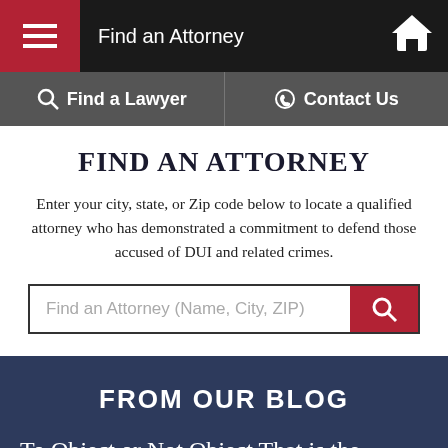Find an Attorney
FIND AN ATTORNEY
Enter your city, state, or Zip code below to locate a qualified attorney who has demonstrated a commitment to defend those accused of DUI and related crimes.
Find an Attorney (Name, City, ZIP)
FROM OUR BLOG
To Object or Not Object That is the Question